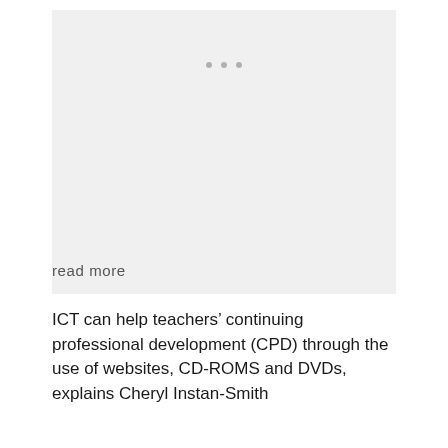[Figure (other): Image placeholder with three dots, light grey background]
read more
ICT can help teachers’ continuing professional development (CPD) through the use of websites, CD-ROMS and DVDs, explains Cheryl Instan-Smith